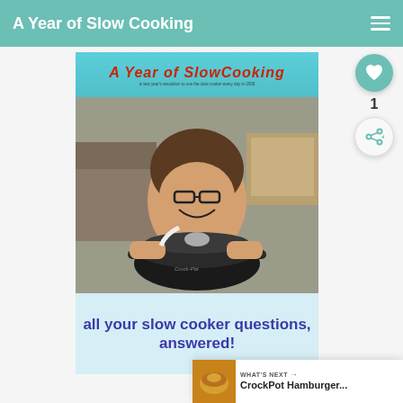A Year of Slow Cooking
[Figure (screenshot): Screenshot of a blog page 'A Year of Slow Cooking' showing a woman smiling while holding a black Crock-Pot slow cooker, with text overlay 'all your slow cooker questions, answered!' and a like button showing count of 1, a share button, and a 'What's Next' card for 'CrockPot Hamburger...']
all your slow cooker questions, answered!
WHAT'S NEXT → CrockPot Hamburger...